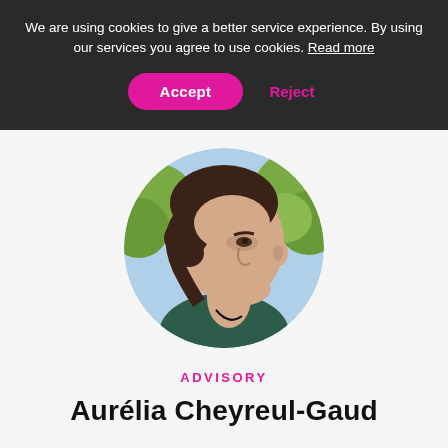We are using cookies to give a better service experience. By using our services you agree to use cookies. Read more
Accept
Reject
[Figure (photo): Circular cropped portrait photo of a woman with dark hair pulled back, looking to the right, outdoors with trees and sky in background, wearing a dark teal top.]
ADVISORY
Aurélia Cheyreul-Gaud